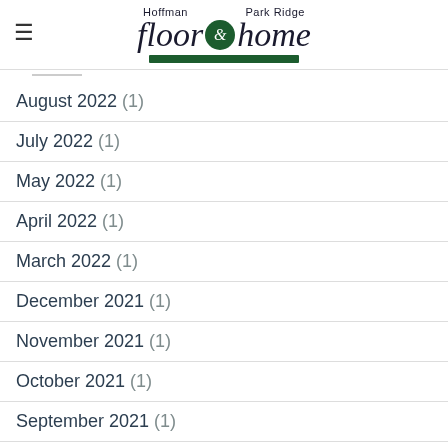Hoffman Park Ridge floor & home
August 2022 (1)
July 2022 (1)
May 2022 (1)
April 2022 (1)
March 2022 (1)
December 2021 (1)
November 2021 (1)
October 2021 (1)
September 2021 (1)